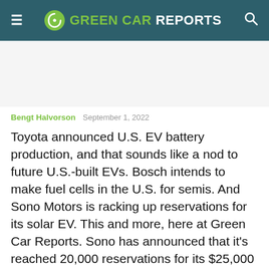GREEN CAR REPORTS
Bengt Halvorson   September 1, 2022
Toyota announced U.S. EV battery production, and that sounds like a nod to future U.S.-built EVs. Bosch intends to make fuel cells in the U.S. for semis. And Sono Motors is racking up reservations for its solar EV. This and more, here at Green Car Reports. Sono has announced that it's reached 20,000 reservations for its $25,000 Sion solar EV, which promises about 70 free miles from the sun each